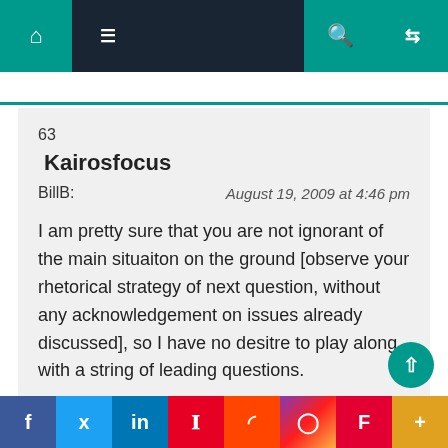Navigation bar with home, menu, search, and random icons
63
Kairosfocus
BillB:
August 19, 2009 at 4:46 pm
I am pretty sure that you are not ignorant of the main situaiton on the ground [observe your rhetorical strategy of next question, without any acknowledgement on issues already discussed], so I have no desitre to play along with a string of leading questions.
Especially, since I have long since given you the
Facebook Twitter LinkedIn Pinterest Reddit Instagram Flipboard More